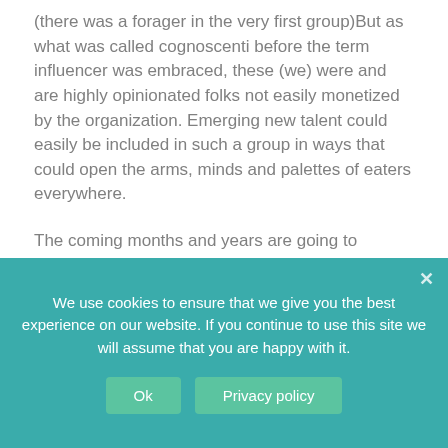(there was a forager in the very first group)But as what was called cognoscenti before the term influencer was embraced, these (we) were and are highly opinionated folks not easily monetized by the organization. Emerging new talent could easily be included in such a group in ways that could open the arms, minds and palettes of eaters everywhere.

The coming months and years are going to require a full and deep re-calibration of the restaurant industry. It seems to be a sweet spot of the Beard Awards, named for a man who sometimes helped restaurants with their food
We use cookies to ensure that we give you the best experience on our website. If you continue to use this site we will assume that you are happy with it.